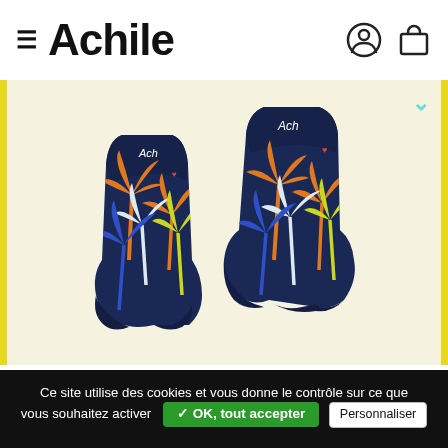≡ Achile [user icon] [bag icon]
[Figure (photo): Two navy blue socks with colorful tropical palm tree pattern in white, orange, yellow, and blue on a cream/yellow-bordered background. The socks display the 'Achile' brand name on their cuffs.]
Ce site utilise des cookies et vous donne le contrôle sur ce que vous souhaitez activer ✓ OK, tout accepter Personnaliser